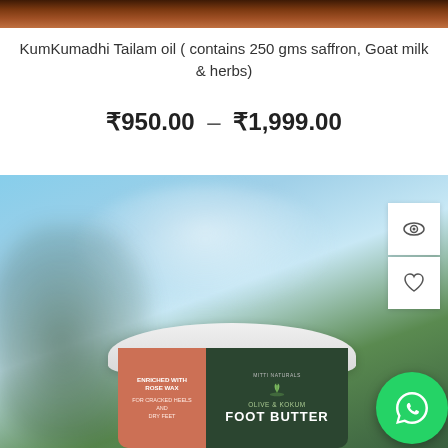[Figure (photo): Top banner image of a brownish/warm-toned product or background, partially visible at the top of the page]
KumKumadhi Tailam oil ( contains 250 gms saffron, Goat milk & herbs)
₹950.00 – ₹1,999.00
[Figure (photo): Product card showing Mitti Naturals Olive & Kokum Foot Butter jar against a blue sky background with blurred greenery. Two action buttons (eye/view and heart/wishlist) are visible on the right. A WhatsApp chat button appears in the bottom right corner. The jar has a white lid, a coral/salmon left panel reading 'Enriched with Rose Wax for Cracked Heels and Dry Feet' and a dark green right panel reading 'OLIVE & KOKUM FOOT BUTTER'.]